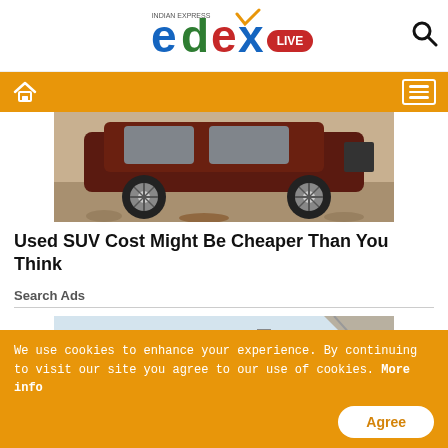[Figure (logo): edexLIVE logo - Indian Express education portal logo with colorful letters e,d,e,x and LIVE badge]
edexLIVE - Indian Express
[Figure (photo): Close-up photo of the underside and wheels of a dark red/maroon SUV on a dirt/rocky terrain]
Used SUV Cost Might Be Cheaper Than You Think
Search Ads
[Figure (photo): Photo of a large building complex that appears to be an airport or commercial facility with tall light poles and a curved concrete overpass/bridge on the right side]
We use cookies to enhance your experience. By continuing to visit our site you agree to our use of cookies. More info